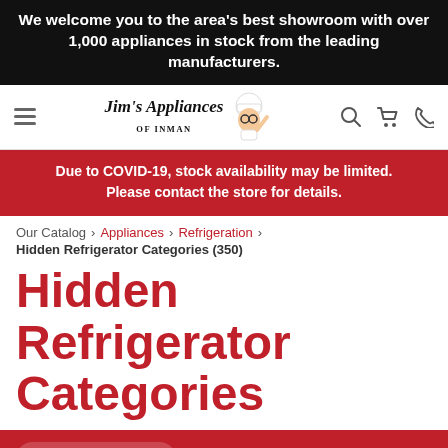We welcome you to the area's best showroom with over 1,000 appliances in stock from the leading manufacturers.
[Figure (logo): Jim's Appliances of Inman logo with chef mascot]
Due to COVID-19, stock availability may be limited. Please contact the store for details.
Our Catalog › Appliances › Refrigeration › Hidden Refrigerator Categories (350)
Hidden Refrigerator Categories
FILTER & SORT   Sort By: Most Popular